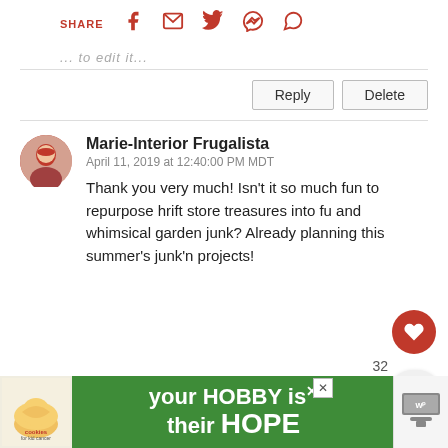SHARE [social icons: facebook, email, twitter, pinterest, whatsapp]
... to edit it...
Reply | Delete
Marie-Interior Frugalista
April 11, 2019 at 12:40:00 PM MDT
Thank you very much! Isn't it so much fun to repurpose hrift store treasures into fu and whimsical garden junk? Already planning this summer's junk'n projects!
32
WHAT'S NEXT → Adorable Recycled...
[Figure (photo): Advertisement banner: cookies for kid cancer - your HOBBY is their HOPE]